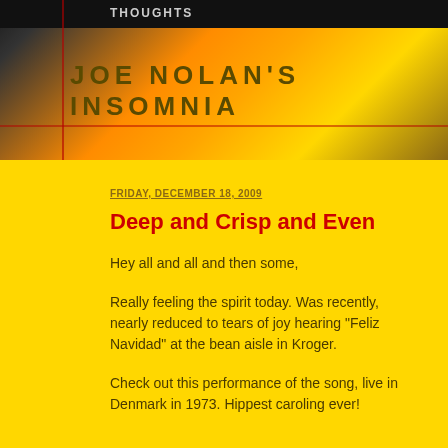THOUGHTS
JOE NOLAN'S INSOMNIA
FRIDAY, DECEMBER 18, 2009
Deep and Crisp and Even
Hey all and all and then some,
Really feeling the spirit today. Was recently, nearly reduced to tears of joy hearing "Feliz Navidad" at the bean aisle in Kroger.
Check out this performance of the song, live in Denmark in 1973. Hippest caroling ever!